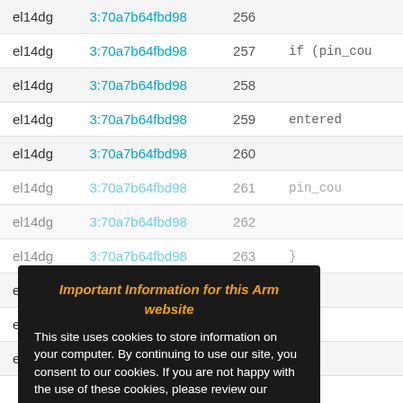| name | hash | line | code |
| --- | --- | --- | --- |
| el14dg | 3:70a7b64fbd98 | 256 |  |
| el14dg | 3:70a7b64fbd98 | 257 | if (pin_cou |
| el14dg | 3:70a7b64fbd98 | 258 |  |
| el14dg | 3:70a7b64fbd98 | 259 | entered |
| el14dg | 3:70a7b64fbd98 | 260 |  |
| el14dg | 3:70a7b64fbd98 | 261 | pin_cou |
| el14dg | 3:70a7b64fbd98 | 262 |  |
| el14dg | 3:70a7b64fbd98 | 263 | } |
| el14dg | 3:70a7b64fbd98 | 264 |  |
| el14dg | 3:70a7b64fbd98 | 265 | } |
| el14dg | 3:70a7b64fbd98 | 266 |  |
Important Information for this Arm website
This site uses cookies to store information on your computer. By continuing to use our site, you consent to our cookies. If you are not happy with the use of these cookies, please review our Cookie Policy to learn how they can be disabled. By disabling cookies, some features of the site will not work.
Accept and hide this message